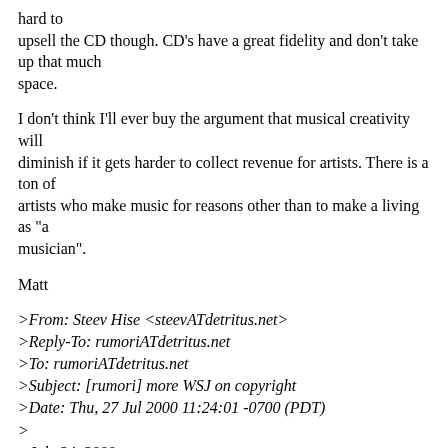hard to upsell the CD though. CD's have a great fidelity and don't take up that much space.
I don't think I'll ever buy the argument that musical creativity will diminish if it gets harder to collect revenue for artists. There is a ton of artists who make music for reasons other than to make a living as "a musician".
Matt
>From: Steev Hise <steevATdetritus.net>
>Reply-To: rumoriATdetritus.net
>To: rumoriATdetritus.net
>Subject: [rumori] more WSJ on copyright
>Date: Thu, 27 Jul 2000 11:24:01 -0700 (PDT)
>
>July 24, 2000
>
>In the Age of Napster,
>We Face Copyright Gap
>>